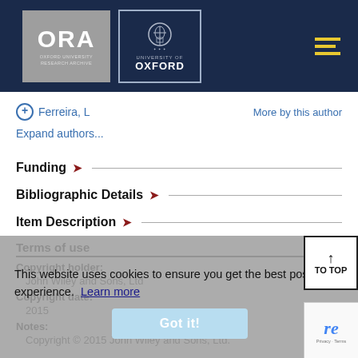[Figure (logo): ORA Oxford University Research Archive logo and University of Oxford crest logo on dark navy header bar]
+ Ferreira, L
More by this author
Expand authors...
Funding
Bibliographic Details
Item Description
Terms of use
Copyright holder:
John Wiley and Sons, Ltd
Copyright date:
2015
Notes:
Copyright © 2015 John Wiley and Sons, Ltd.
This website uses cookies to ensure you get the best possible experience. Learn more
Got it!